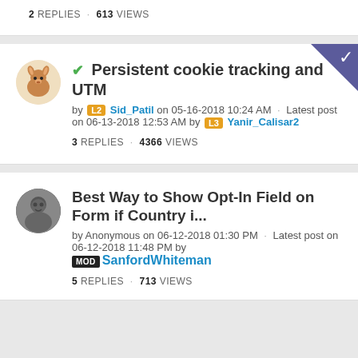2 REPLIES · 613 VIEWS
Persistent cookie tracking and UTM
by L2 Sid_Patil on 05-16-2018 10:24 AM · Latest post on 06-13-2018 12:53 AM by L3 Yanir_Calisar2
3 REPLIES · 4366 VIEWS
Best Way to Show Opt-In Field on Form if Country i...
by Anonymous on 06-12-2018 01:30 PM · Latest post on 06-12-2018 11:48 PM by MOD SanfordWhiteman
5 REPLIES · 713 VIEWS